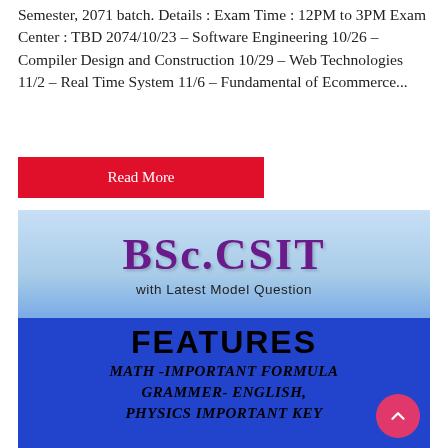Semester, 2071 batch. Details : Exam Time : 12PM to 3PM Exam Center : TBD 2074/10/23 – Software Engineering 10/26 – Compiler Design and Construction 10/29 – Web Technologies 11/2 – Real Time System 11/6 – Fundamental of Ecommerce...
Read More
[Figure (illustration): BSc.CSIT book cover image showing 'BSc.CSIT' in large purple text on a light blue gradient background with 'with Latest Model Question' below, then a blue section with 'FEATURES' in large bold black text, and 'MATH -IMPORTANT FORMULA, GRAMMER- ENGLISH, PHYSICS IMPORTANT KEY' in bold italic black text. A pink/red circular scroll-to-top button is visible at the bottom right.]